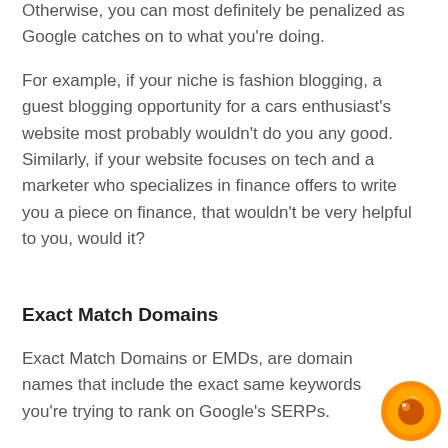Otherwise, you can most definitely be penalized as Google catches on to what you're doing.
For example, if your niche is fashion blogging, a guest blogging opportunity for a cars enthusiast's website most probably wouldn't do you any good. Similarly, if your website focuses on tech and a marketer who specializes in finance offers to write you a piece on finance, that wouldn't be very helpful to you, would it?
Exact Match Domains
Exact Match Domains or EMDs, are domain names that include the exact same keywords you're trying to rank on Google's SERPs.